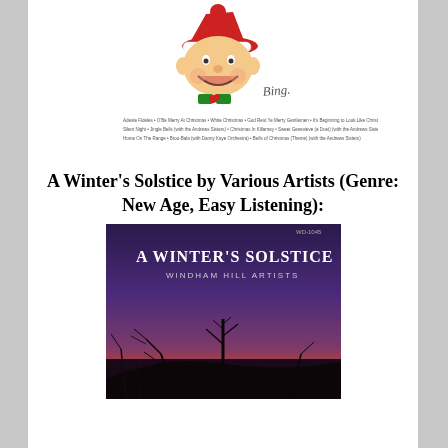[Figure (illustration): Bing Crosby illustrated Christmas album cover showing a smiling face with Santa hat, holly bow tie, signature 'Bing', and small text listing song titles below]
A Winter's Solstice by Various Artists (Genre: New Age, Easy Listening):
[Figure (photo): Album cover for 'A Winter's Solstice' by Windham Hill Artists showing a winter sunset landscape with bare trees silhouetted against a purple and red sky]